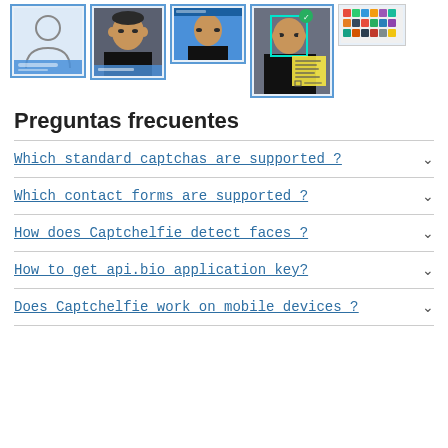[Figure (screenshot): Row of 5 thumbnail images showing various screenshots related to Captchelfie face detection and app UI. First thumbnail shows a placeholder person silhouette with blue bar. Second and third show a man wearing a black shirt. Fourth shows a man with a verification overlay and yellow info panel. Fifth shows a colorful app grid screenshot.]
Preguntas frecuentes
Which standard captchas are supported ?
Which contact forms are supported ?
How does Captchelfie detect faces ?
How to get api.bio application key?
Does Captchelfie work on mobile devices ?